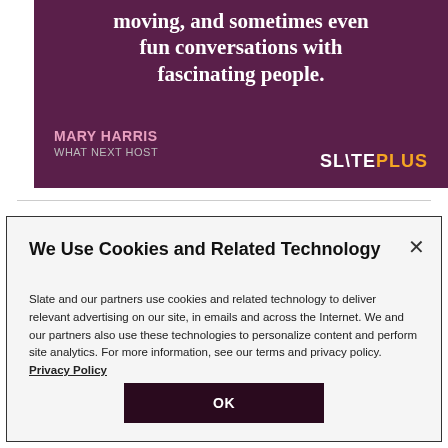[Figure (illustration): Slate Plus advertisement banner with dark purple background showing Mary Harris, What Next Host, with bold white serif text reading 'moving, and sometimes even fun conversations with fascinating people.' and SLATEPLUS logo in white and orange.]
We Use Cookies and Related Technology
Slate and our partners use cookies and related technology to deliver relevant advertising on our site, in emails and across the Internet. We and our partners also use these technologies to personalize content and perform site analytics. For more information, see our terms and privacy policy.  Privacy Policy